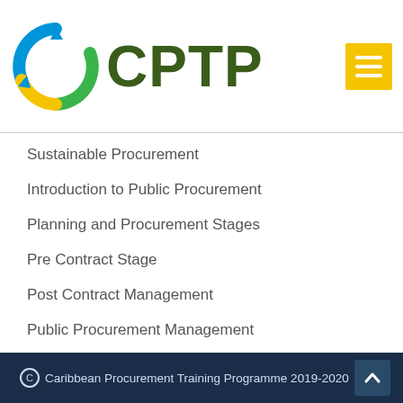[Figure (logo): CPTP logo with circular arrow icon in blue, green, yellow and CPTP text in dark green]
Sustainable Procurement
Introduction to Public Procurement
Planning and Procurement Stages
Pre Contract Stage
Post Contract Management
Public Procurement Management
Public Procurement Ethics and Sustainability
E-Procurement
Caribbean Procurement Training Programme 2019-2020